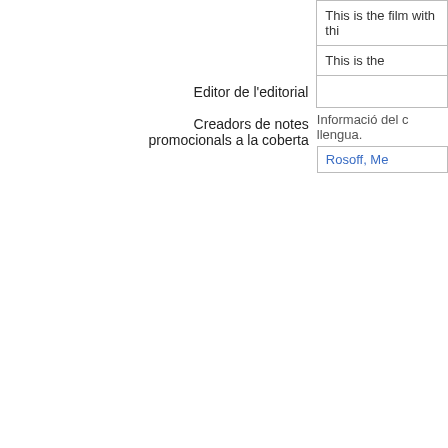|  | This is the film with thi |
|  | This is the |
| Editor de l'editorial |  |
| Creadors de notes promocionals a la coberta | Informació del llengua.
Rosoff, Me |
Aquest lloc utilitza galetes per a oferir els nostres serveis, millorar el
Hi estic d'acord
desenvolupament, per a anàlisis i (si no has iniciat la sessió) per a publicitat. Utilitzant LibraryThing acceptes que has llegit i entès els nostres Termes de servei i política de privacitat. L'ús que facis del lloc i dels seus serveis està subjecte a aquestes polítiques i termes.